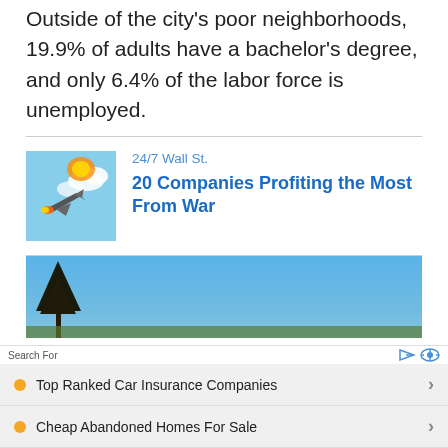Outside of the city's poor neighborhoods, 19.9% of adults have a bachelor's degree, and only 6.4% of the labor force is unemployed.
[Figure (photo): Fighter jet in the sky with explosion behind it]
24/7 Wall St.
20 Companies Profiting the Most From War
[Figure (photo): Landscape with blue sky and dark tree silhouette]
Search For
Top Ranked Car Insurance Companies
Cheap Abandoned Homes For Sale